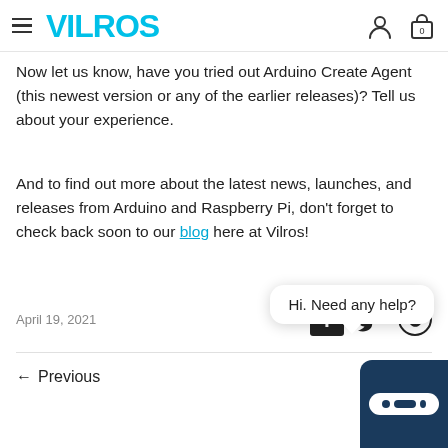VILROS
Now let us know, have you tried out Arduino Create Agent (this newest version or any of the earlier releases)? Tell us about your experience.
And to find out more about the latest news, launches, and releases from Arduino and Raspberry Pi, don't forget to check back soon to our blog here at Vilros!
April 19, 2021
[Figure (screenshot): Hi. Need any help? chat bubble overlay]
← Previous